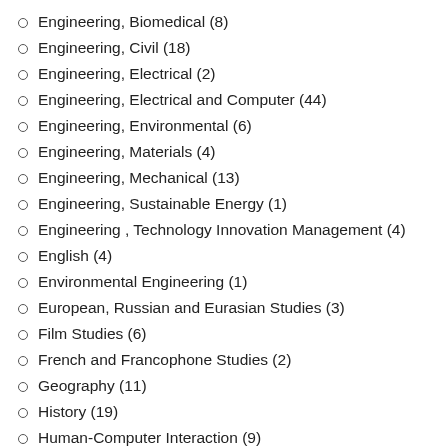Engineering, Biomedical (8)
Engineering, Civil (18)
Engineering, Electrical (2)
Engineering, Electrical and Computer (44)
Engineering, Environmental (6)
Engineering, Materials (4)
Engineering, Mechanical (13)
Engineering, Sustainable Energy (1)
Engineering , Technology Innovation Management (4)
English (4)
Environmental Engineering (1)
European, Russian and Eurasian Studies (3)
Film Studies (6)
French and Francophone Studies (2)
Geography (11)
History (19)
Human-Computer Interaction (9)
Industrial Design (8)